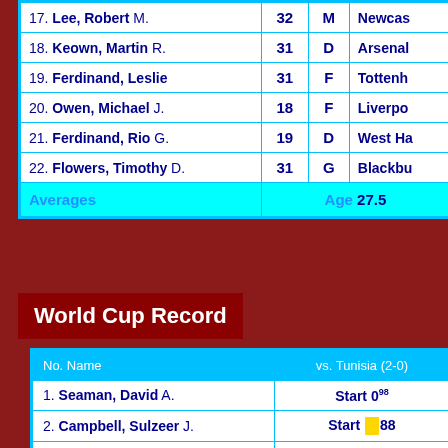| No. Name | Age | Pos | Club |
| --- | --- | --- | --- |
| 17. Lee, Robert M. | 32 | M | Newcas… |
| 18. Keown, Martin R. | 31 | D | Arsenal |
| 19. Ferdinand, Leslie | 31 | F | Tottenh… |
| 20. Owen, Michael J. | 18 | F | Liverpoo… |
| 21. Ferdinand, Rio G. | 19 | D | West Ha… |
| 22. Flowers, Timothy D. | 31 | G | Blackbu… |
| Averages |  | Age 27.5 |  |
World Cup Record
| No. Name | vs. Tunisia (2-0) |
| --- | --- |
| 1. Seaman, David A. | Start 0^98 |
| 2. Campbell, Sulzeer J. | Start [yellow]88 |
| 3. Le Saux, Graeme P. | Start |
| 4. Ince, Paul E.C. | Start |